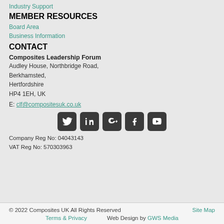Industry Support
MEMBER RESOURCES
Board Area
Business Information
CONTACT
Composites Leadership Forum
Audley House, Northbridge Road,
Berkhamsted,
Hertfordshire
HP4 1EH, UK
E: clf@compositesuk.co.uk
[Figure (infographic): Social media icon buttons: Twitter, LinkedIn, Google+, Facebook, YouTube]
Company Reg No: 04043143
VAT Reg No: 570303963
© 2022 Composites UK All Rights Reserved   Site Map   Terms & Privacy   Web Design by GWS Media